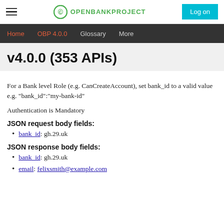OPENBANKPROJECT | Log on
Home | OBP 4.0.0 | Glossary | More
v4.0.0 (353 APIs)
For a Bank level Role (e.g. CanCreateAccount), set bank_id to a valid value e.g. "bank_id":"my-bank-id"
Authentication is Mandatory
JSON request body fields:
bank_id: gh.29.uk
JSON response body fields:
bank_id: gh.29.uk
email: felixsmith@example.com